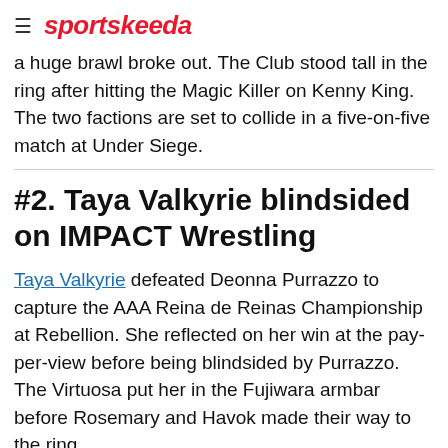sportskeeda
a huge brawl broke out. The Club stood tall in the ring after hitting the Magic Killer on Kenny King. The two factions are set to collide in a five-on-five match at Under Siege.
#2. Taya Valkyrie blindsided on IMPACT Wrestling
Taya Valkyrie defeated Deonna Purrazzo to capture the AAA Reina de Reinas Championship at Rebellion. She reflected on her win at the pay-per-view before being blindsided by Purrazzo. The Virtuosa put her in the Fujiwara armbar before Rosemary and Havok made their way to the ring.
[Figure (infographic): Advertisement banner for Firestone: 'Service At Your Fingertips' with a Download button]